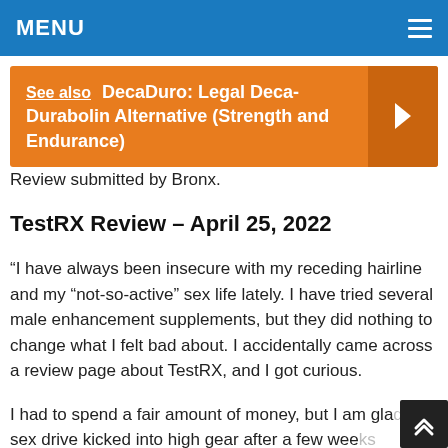MENU
See also  DecaDuro: Legal Deca-Durabolin Alternative (Strength and Endurance)
Review submitted by Bronx.
TestRX Review – April 25, 2022
“I have always been insecure with my receding hairline and my “not-so-active” sex life lately. I have tried several male enhancement supplements, but they did nothing to change what I felt bad about. I accidentally came across a review page about TestRX, and I got curious.
I had to spend a fair amount of money, but I am gla... my sex drive kicked into high gear after a few wee...